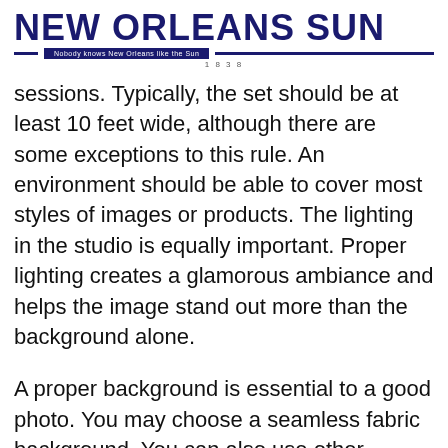NEW ORLEANS SUN — Nobody knows New Orleans like the Sun — 1838
sessions. Typically, the set should be at least 10 feet wide, although there are some exceptions to this rule. An environment should be able to cover most styles of images or products. The lighting in the studio is equally important. Proper lighting creates a glamorous ambiance and helps the image stand out more than the background alone.
A proper background is essential to a good photo. You may choose a seamless fabric background. You can also use other backdrop items, such as balloons or tissue paper. A backdrop can also be made of hanging strings, paper flowers, or artificial flowers. A location can vary in size as well. Make sure to choose one that fits your style. You can even make your backdrops.